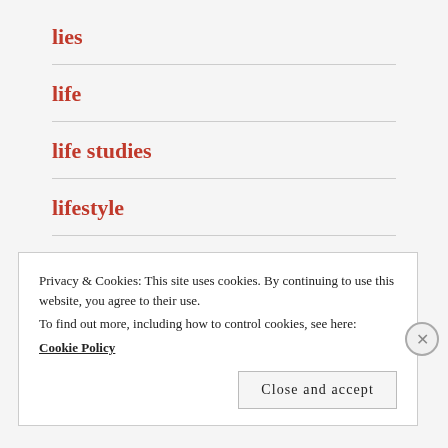lies
life
life studies
lifestyle
light
loneliness
Privacy & Cookies: This site uses cookies. By continuing to use this website, you agree to their use.
To find out more, including how to control cookies, see here:
Cookie Policy
Close and accept